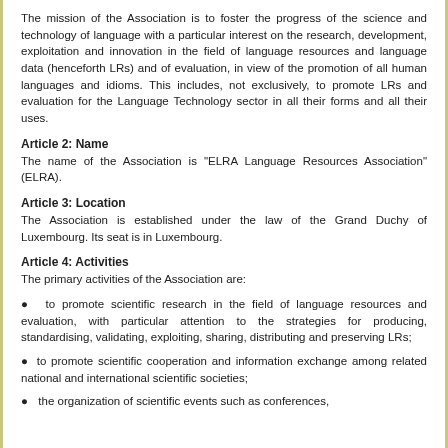The mission of the Association is to foster the progress of the science and technology of language with a particular interest on the research, development, exploitation and innovation in the field of language resources and language data (henceforth LRs) and of evaluation, in view of the promotion of all human languages and idioms. This includes, not exclusively, to promote LRs and evaluation for the Language Technology sector in all their forms and all their uses.
Article 2: Name
The name of the Association is "ELRA Language Resources Association" (ELRA).
Article 3: Location
The Association is established under the law of the Grand Duchy of Luxembourg. Its seat is in Luxembourg.
Article 4: Activities
The primary activities of the Association are:
to promote scientific research in the field of language resources and evaluation, with particular attention to the strategies for producing, standardising, validating, exploiting, sharing, distributing and preserving LRs;
to promote scientific cooperation and information exchange among related national and international scientific societies;
the organization of scientific events such as conferences,